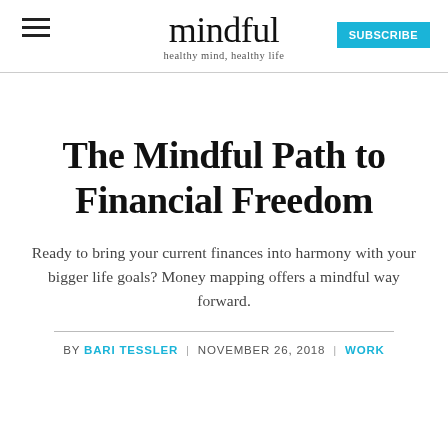mindful — healthy mind, healthy life — SUBSCRIBE
The Mindful Path to Financial Freedom
Ready to bring your current finances into harmony with your bigger life goals? Money mapping offers a mindful way forward.
BY BARI TESSLER | NOVEMBER 26, 2018 | WORK